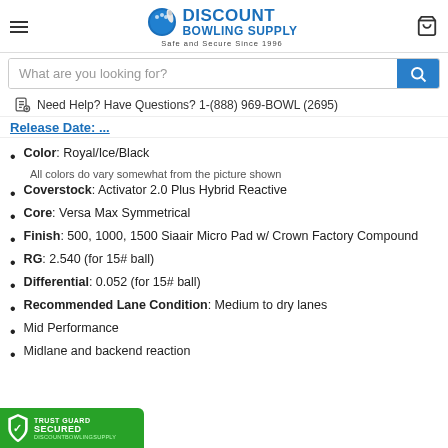Discount Bowling Supply — Safe and Secure Since 1996
What are you looking for?
Need Help? Have Questions? 1-(888) 969-BOWL (2695)
Release Date: ...
Color: Royal/Ice/Black
All colors do vary somewhat from the picture shown
Coverstock: Activator 2.0 Plus Hybrid Reactive
Core: Versa Max Symmetrical
Finish: 500, 1000, 1500 Siaair Micro Pad w/ Crown Factory Compound
RG: 2.540 (for 15# ball)
Differential: 0.052 (for 15# ball)
Recommended Lane Condition: Medium to dry lanes
Mid Performance
Midlane and backend reaction
[Figure (logo): Trust Guard Secured badge with shield icon and discountbowlingsupply.com text]